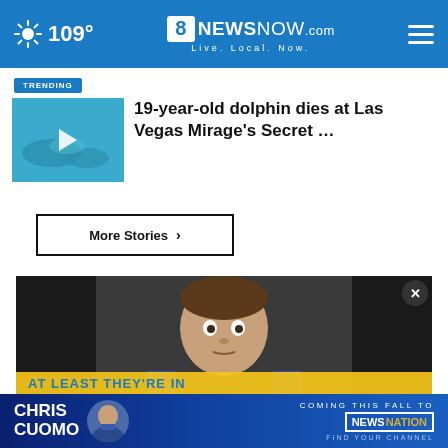109° | 8NewsNow.com | Live. Local. Now.
TRENDING
19-year-old dolphin dies at Las Vegas Mirage's Secret …
More Stories ›
[Figure (photo): Child sitting in a black car seat looking at camera with surprised expression. Yellow strip at bottom reads 'AT LEAST THEY'RE IN']
[Figure (infographic): Chris Cuomo Coming This Fall To NewsNation advertisement banner]